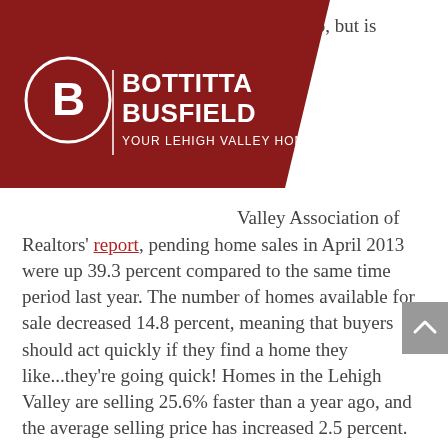[Figure (logo): Bottitta Busfield logo on dark red banner/chevron shape. White circular B icon on left, text 'BOTTITTA BUSFIELD' and 'YOUR LEHIGH VALLEY HOME EXPERT' in white.]
months ago, but is
s.
Valley Association of Realtors' report, pending home sales in April 2013 were up 39.3 percent compared to the same time period last year. The number of homes available for sale decreased 14.8 percent, meaning that buyers should act quickly if they find a home they like...they're going quick! Homes in the Lehigh Valley are selling 25.6% faster than a year ago, and the average selling price has increased 2.5 percent.
It is becoming a seller's market and using video to promote a listing will increase your chances even more to sell quickly and for top dollar.
Here's your look at the real estate market on a